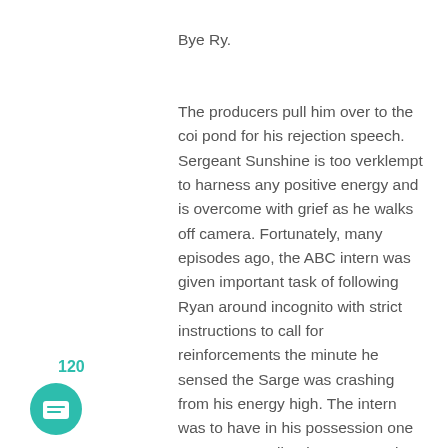Bye Ry.
The producers pull him over to the coi pond for his rejection speech. Sergeant Sunshine is too verklempt to harness any positive energy and is overcome with grief as he walks off camera. Fortunately, many episodes ago, the ABC intern was given important task of following Ryan around incognito with strict instructions to call for reinforcements the minute he sensed the Sarge was crashing from his energy high. The intern was to have in his possession one Prozac, a small Evian water spritzer and a mirror to reflect natural sunlight in to the desolate eyes of our greenest bachelor until the ABC Psychotherapist arrived on the scene.
120